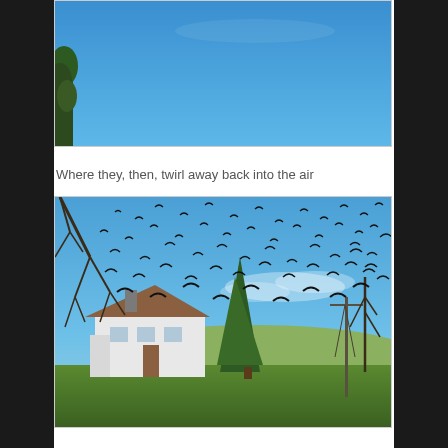[Figure (photo): Blue sky with partial view of a pine tree on the left edge, cropped at top]
Where they, then, twirl away back into the air
[Figure (photo): A large flock of birds (crows or starlings) swirling in a blue sky over a white farmhouse with surrounding trees and green lawn]